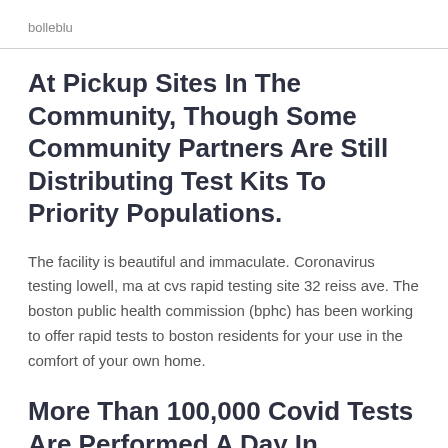bolleblu
At Pickup Sites In The Community, Though Some Community Partners Are Still Distributing Test Kits To Priority Populations.
The facility is beautiful and immaculate. Coronavirus testing lowell, ma at cvs rapid testing site 32 reiss ave. The boston public health commission (bphc) has been working to offer rapid tests to boston residents for your use in the comfort of your own home.
More Than 100,000 Covid Tests Are Performed A Day In Massachusetts